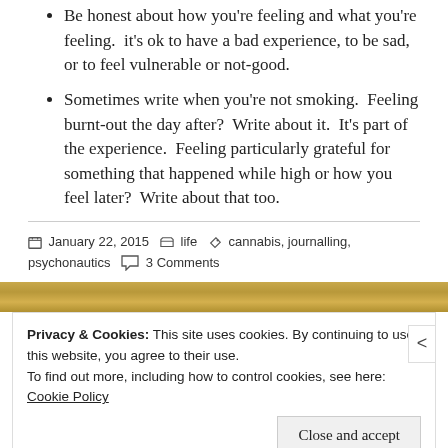Be honest about how you're feeling and what you're feeling. it's ok to have a bad experience, to be sad, or to feel vulnerable or not-good.
Sometimes write when you're not smoking. Feeling burnt-out the day after? Write about it. It's part of the experience. Feeling particularly grateful for something that happened while high or how you feel later? Write about that too.
January 22, 2015  life  cannabis, journalling, psychonautics  3 Comments
Privacy & Cookies: This site uses cookies. By continuing to use this website, you agree to their use.
To find out more, including how to control cookies, see here: Cookie Policy